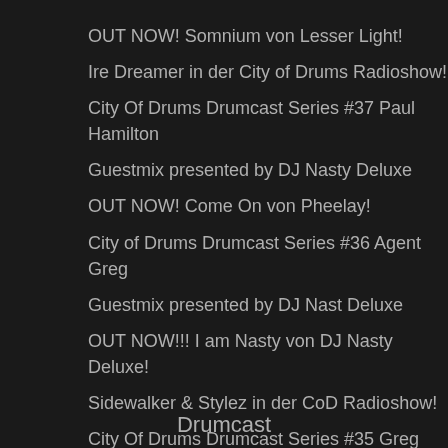OUT NOW! Somnium von Lesser Light!
Ire Dreamer in der City of Drums Radioshow!
City Of Drums Drumcast Series #37 Paul Hamilton
Guestmix presented by DJ Nasty Deluxe
OUT NOW! Come On von Pheelay!
City of Drums Drumcast Series #36 Agent Greg
Guestmix presented by DJ Nast Deluxe
OUT NOW!!! I am Nasty von DJ Nasty Deluxe!
Sidewalker & Stylez in der CoD Radioshow!
City Of Drums Drumcast Series #35 Greg Notill
Guestmix presented by DJ Nasty Deluxe
Drumcast